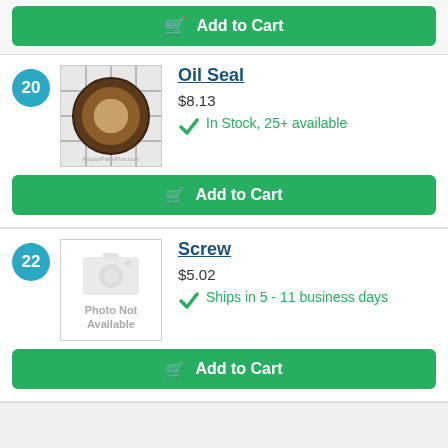[Figure (other): Add to Cart green button at top (partial section above)]
20 - Oil Seal, $8.13, In Stock, 25+ available
[Figure (photo): Oil Seal product image showing a circular seal on grid background]
Oil Seal
$8.13
In Stock, 25+ available
[Figure (other): Add to Cart green button for Oil Seal]
22 - Screw, $5.02, Ships in 5 - 11 business days
[Figure (photo): Photo Not Available placeholder for Screw]
Screw
$5.02
Ships in 5 - 11 business days
[Figure (other): Add to Cart green button for Screw]